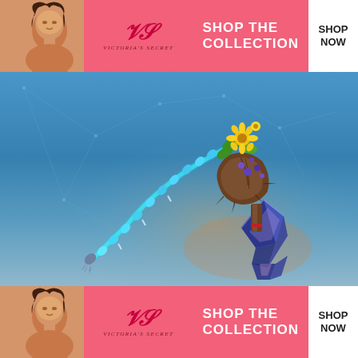[Figure (advertisement): Victoria's Secret banner ad (top) showing a model on the left, VS logo in center, 'SHOP THE COLLECTION' text, and 'SHOP NOW' button on white background. Pink background.]
[Figure (screenshot): Fortnite game item screenshot showing a fantasy pickaxe weapon with a glowing cyan/blue segmented handle, dark wooden club head decorated with yellow and blue flowers and green foliage, mounted on a geometric blue crystal base. Background is a gradient blue sky with subtle geometric network lines.]
[Figure (advertisement): Victoria's Secret banner ad (bottom, identical to top) showing a model on the left, VS logo in center, 'SHOP THE COLLECTION' text, and 'SHOP NOW' button on white background. Pink background.]